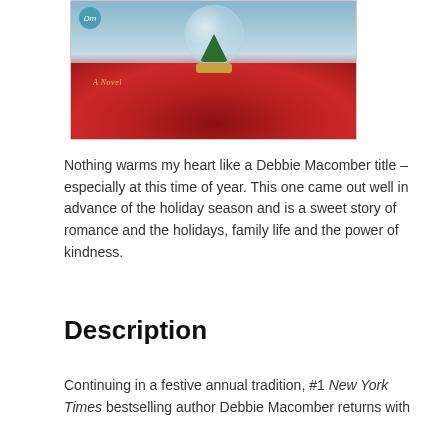[Figure (photo): Book cover of a Debbie Macomber novel showing a snow globe with a Christmas tree and holly berries on a red background, with text 'A Novel']
Nothing warms my heart like a Debbie Macomber title – especially at this time of year. This one came out well in advance of the holiday season and is a sweet story of romance and the holidays, family life and the power of kindness.
Description
Continuing in a festive annual tradition, #1 New York Times bestselling author Debbie Macomber returns with